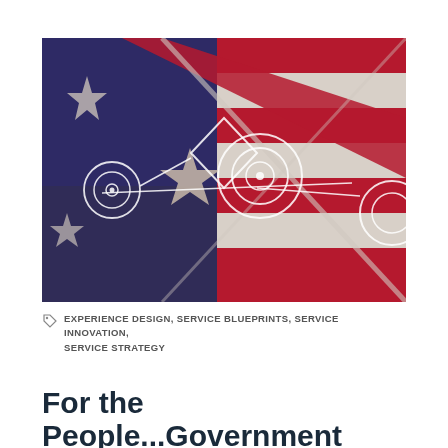[Figure (photo): Close-up photo of an American flag overlaid with a service blueprint diagram showing touchpoints (circles with center dots) connected by lines, with a diamond/shield shape in the center and a star shape, representing service design on a patriotic background.]
EXPERIENCE DESIGN, SERVICE BLUEPRINTS, SERVICE INNOVATION, SERVICE STRATEGY
For the People...Government